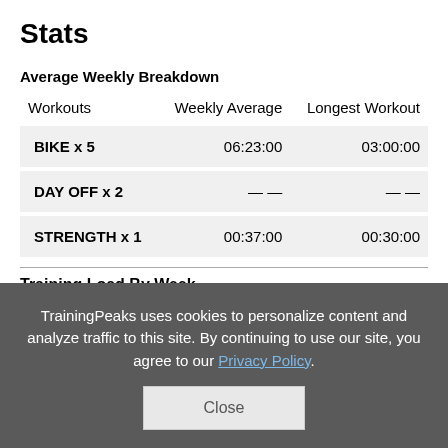Stats
Average Weekly Breakdown
| Workouts | Weekly Average | Longest Workout |
| --- | --- | --- |
| BIKE x 5 | 06:23:00 | 03:00:00 |
| DAY OFF x 2 | — — | — — |
| STRENGTH x 1 | 00:37:00 | 00:30:00 |
Training Load By Week
[Figure (bar-chart): Training Load By Week chart, partially visible, showing a y-axis label of 10.0]
TrainingPeaks uses cookies to personalize content and analyze traffic to this site. By continuing to use our site, you agree to our Privacy Policy.
Close